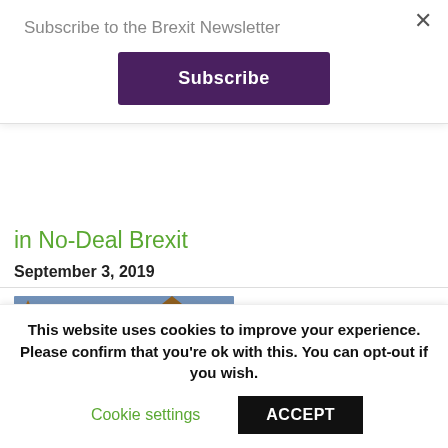Subscribe to the Brexit Newsletter
Subscribe
in No-Deal Brexit
September 3, 2019
[Figure (photo): Photograph of the Houses of Parliament (Palace of Westminster) and Big Ben at dusk/evening with the Thames River in the foreground and Westminster Bridge visible.]
£10 million Brexit fund launched to help
This website uses cookies to improve your experience. Please confirm that you're ok with this. You can opt-out if you wish.
Cookie settings
ACCEPT